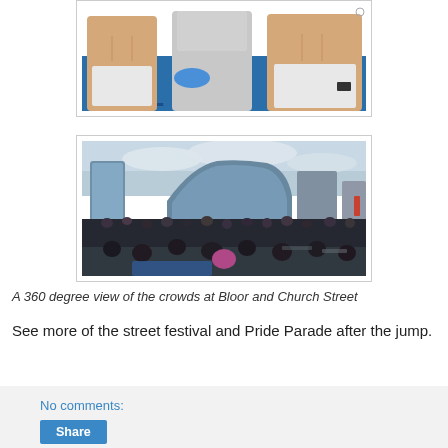[Figure (photo): Partial photo of people at what appears to be a pride event, showing figures in white shorts near a blue banner with letters visible]
[Figure (photo): A 360 degree panoramic photo of a large crowd gathered at Bloor and Church Street, with glass skyscrapers visible in the background under a cloudy sky]
A 360 degree view of the crowds at Bloor and Church Street
See more of the street festival and Pride Parade after the jump.
No comments:
Share